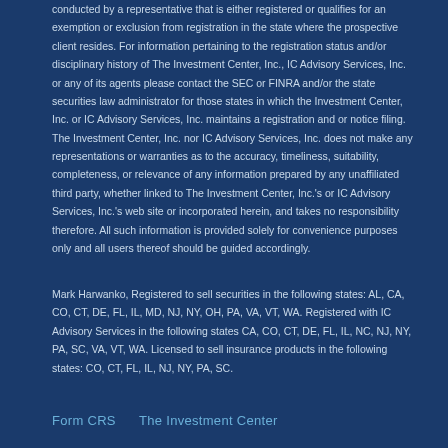conducted by a representative that is either registered or qualifies for an exemption or exclusion from registration in the state where the prospective client resides. For information pertaining to the registration status and/or disciplinary history of The Investment Center, Inc., IC Advisory Services, Inc. or any of its agents please contact the SEC or FINRA and/or the state securities law administrator for those states in which the Investment Center, Inc. or IC Advisory Services, Inc. maintains a registration and or notice filing. The Investment Center, Inc. nor IC Advisory Services, Inc. does not make any representations or warranties as to the accuracy, timeliness, suitability, completeness, or relevance of any information prepared by any unaffiliated third party, whether linked to The Investment Center, Inc.'s or IC Advisory Services, Inc.'s web site or incorporated herein, and takes no responsibility therefore. All such information is provided solely for convenience purposes only and all users thereof should be guided accordingly.
Mark Harwanko, Registered to sell securities in the following states: AL, CA, CO, CT, DE, FL, IL, MD, NJ, NY, OH, PA, VA, VT, WA. Registered with IC Advisory Services in the following states CA, CO, CT, DE, FL, IL, NC, NJ, NY, PA, SC, VA, VT, WA. Licensed to sell insurance products in the following states: CO, CT, FL, IL, NJ, NY, PA, SC.
Form CRS    The Investment Center